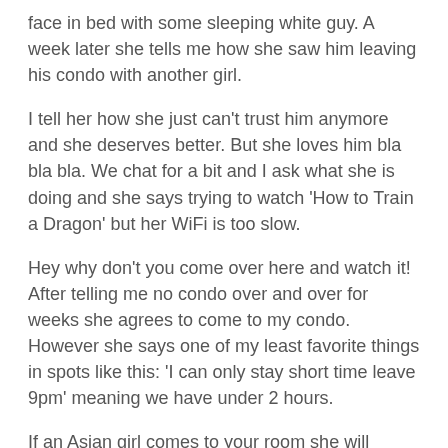face in bed with some sleeping white guy. A week later she tells me how she saw him leaving his condo with another girl.
I tell her how she just can't trust him anymore and she deserves better. But she loves him bla bla bla. We chat for a bit and I ask what she is doing and she says trying to watch 'How to Train a Dragon' but her WiFi is too slow.
Hey why don't you come over here and watch it! After telling me no condo over and over for weeks she agrees to come to my condo. However she says one of my least favorite things in spots like this: 'I can only stay short time leave 9pm' meaning we have under 2 hours.
If an Asian girl comes to your room she will probably bang you. Even if they say no sex that is just them trying to trick themselves into not being blamed when they end up having sex.